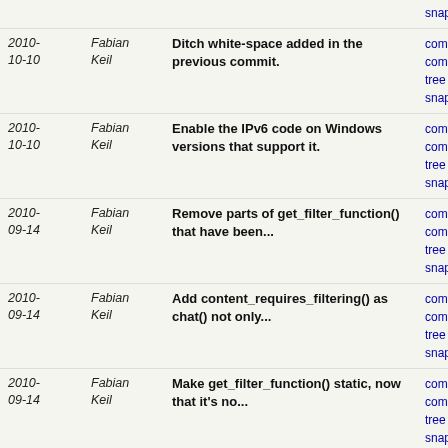| Date | Author | Message | Links |
| --- | --- | --- | --- |
|  |  |  | snapshot |
| 2010-10-10 | Fabian Keil | Ditch white-space added in the previous commit. | commit | commitdiff | tree | snapshot |
| 2010-10-10 | Fabian Keil | Enable the IPv6 code on Windows versions that support it. | commit | commitdiff | tree | snapshot |
| 2010-09-14 | Fabian Keil | Remove parts of get_filter_function() that have been... | commit | commitdiff | tree | snapshot |
| 2010-09-14 | Fabian Keil | Add content_requires_filtering() as chat() not only... | commit | commitdiff | tree | snapshot |
| 2010-09-14 | Fabian Keil | Make get_filter_function() static, now that it's no... | commit | commitdiff | tree | snapshot |
| 2010-09-14 | Fabian Keil | Use a boolean (int actually) instead of a pointer to... | commit | commitdiff | tree | snapshot |
| 2010-09-14 | Fabian Keil | Rename execute_content_filter() to execute_content_fil... | commit | commitdiff | tree | snapshot |
| 2010-09-14 | Fabian Keil | Add 80) | commit | commitdiff | tree | snapshot |
| 2010-09-09 | Fabian Keil | In html_encode(), escape apostrophes so they can't... | commit | commitdiff | tree | snapshot |
| 2010-09-03 | Fabian Keil | In listen_loop(), mention the socket on which we accept... | commit | commitdiff | tree | snapshot |